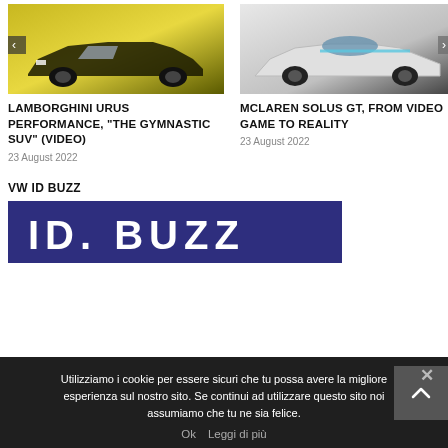[Figure (photo): Yellow Lamborghini Urus SUV, front-side view on stylized background]
LAMBORGHINI URUS PERFORMANCE, "THE GYMNASTIC SUV" (VIDEO)
23 August 2022
[Figure (photo): White McLaren Solus GT sports car, front-side view]
MCLAREN SOLUS GT, FROM VIDEO GAME TO REALITY
23 August 2022
VW ID BUZZ
[Figure (photo): VW ID Buzz banner with large white text on dark blue/purple background]
Utilizziamo i cookie per essere sicuri che tu possa avere la migliore esperienza sul nostro sito. Se continui ad utilizzare questo sito noi assumiamo che tu ne sia felice.
Ok   Leggi di più